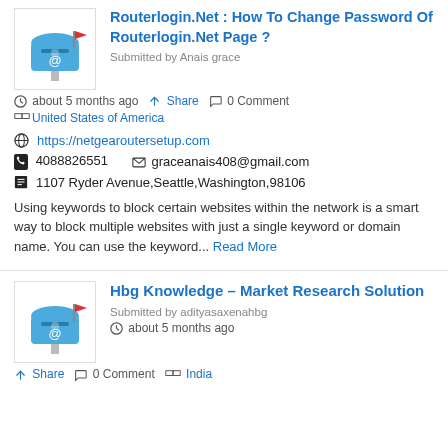Routerlogin.Net : How To Change Password Of Routerlogin.Net Page ?
Submitted by Anais grace
about 5 months ago  Share  0 Comment
United States of America
https://netgearoutersetup.com
4088826551   graceanais408@gmail.com
1107 Ryder Avenue,Seattle,Washington,98106
Using keywords to block certain websites within the network is a smart way to block multiple websites with just a single keyword or domain name. You can use the keyword... Read More
Hbg Knowledge – Market Research Solution
Submitted by adityasaxenahbg
about 5 months ago
Share  0 Comment  India